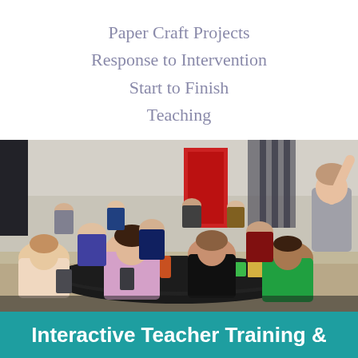Paper Craft Projects
Response to Intervention
Start to Finish
Teaching
[Figure (photo): Large group of teachers seated around tables in a conference hall, engaged in a training workshop. A presenter stands at the right side with arm raised. Tables have craft materials, papers, and drinks. A red door is visible in the background.]
Interactive Teacher Training &